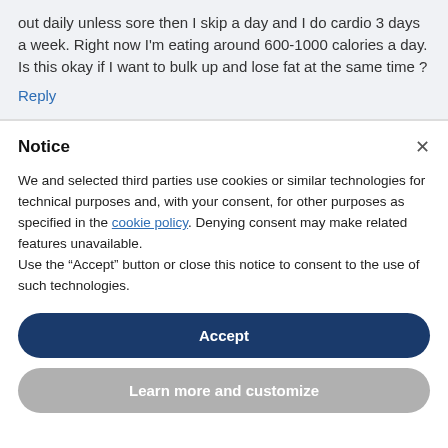out daily unless sore then I skip a day and I do cardio 3 days a week. Right now I'm eating around 600-1000 calories a day. Is this okay if I want to bulk up and lose fat at the same time ?
Reply
Notice
We and selected third parties use cookies or similar technologies for technical purposes and, with your consent, for other purposes as specified in the cookie policy. Denying consent may make related features unavailable.
Use the “Accept” button or close this notice to consent to the use of such technologies.
Accept
Learn more and customize